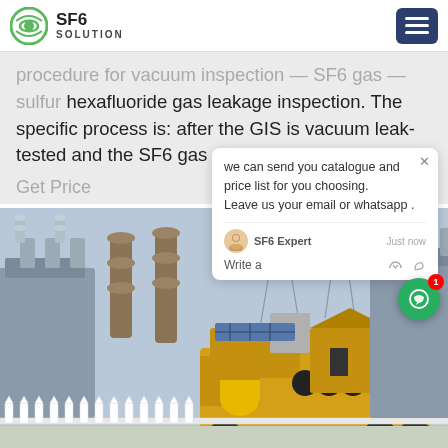SF6 SOLUTION
procedure for vacuum inspection — SF6 gas — sulfur hexafluoride gas leakage inspection. The specific process is: after the GIS is vacuum leak-tested and the SF6 gas
Get Price
[Figure (photo): Electrical substation with large transformers and a yellow service truck/vehicle with equipment, workers visible in background, white picket fence in foreground, transmission towers in background.]